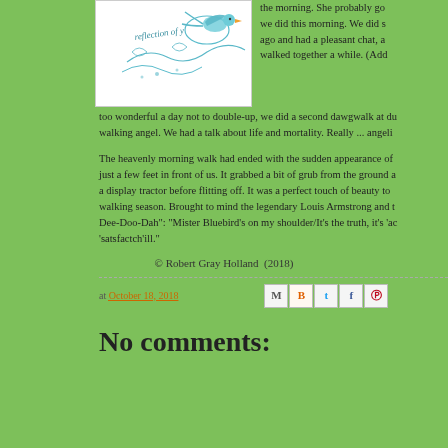[Figure (logo): Blog logo with decorative text 'reflection of y...' and bird/floral design in teal/blue]
the morning. She probably go we did this morning. We did s ago and had a pleasant chat, a walked together a while. (Add too wonderful a day not to double-up, we did a second dawgwalk at du walking angel. We had a talk about life and mortality. Really ... angeli
The heavenly morning walk had ended with the sudden appearance of just a few feet in front of us. It grabbed a bit of grub from the ground a a display tractor before flitting off. It was a perfect touch of beauty to walking season. Brought to mind the legendary Louis Armstrong and t Dee-Doo-Dah": "Mister Bluebird's on my shoulder/It's the truth, it's 'ac 'satsfactch'ill."
© Robert Gray Holland  (2018)
at October 18, 2018
[Figure (infographic): Social share icons: Email (M), Blogger (B), Twitter (t), Facebook (f), Pinterest (pin)]
No comments: